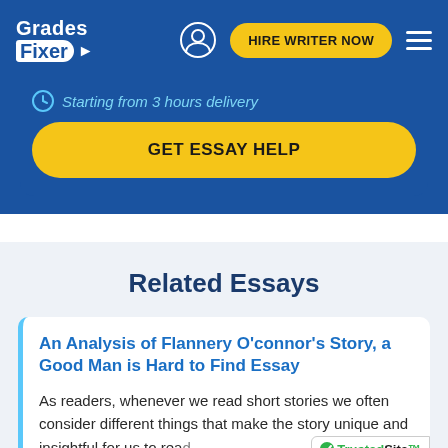[Figure (logo): GradesFixer logo with white text on blue background, user icon, yellow HIRE WRITER NOW button, and hamburger menu]
Starting from 3 hours delivery
GET ESSAY HELP
Related Essays
An Analysis of Flannery O'connor's Story, a Good Man is Hard to Find Essay
As readers, whenever we read short stories we often consider different things that make the story unique and insightful for us to read.